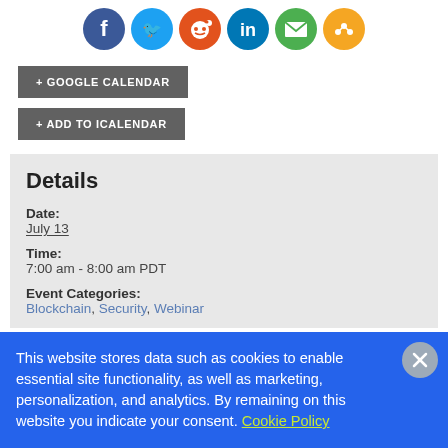[Figure (other): Row of social sharing icon buttons: Facebook (blue), Twitter (light blue), Reddit (orange), LinkedIn (blue), Email (green), Share (orange)]
+ GOOGLE CALENDAR
+ ADD TO ICALENDAR
Details
Date:
July 13
Time:
7:00 am - 8:00 am PDT
Event Categories:
Blockchain, Security, Webinar
This website stores data such as cookies to enable essential site functionality, as well as marketing, personalization, and analytics. By remaining on this website you indicate your consent. Cookie Policy